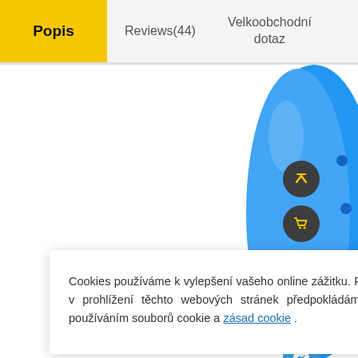Popis | Reviews(44) | Velkoobchodní dotaz
[Figure (photo): Blue product (likely a smart device or gadget) visible on the right side of the page, with dark circular floating action buttons for navigation, cart, refresh, QR code, and messenger.]
Cookies používáme k vylepšení vašeho online zážitku. Pokračováním v prohlížení těchto webových stránek předpokládáme souhlas s používáním souborů cookie a zásad cookie .